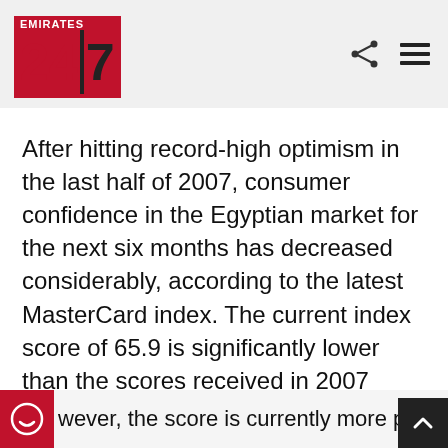Emirates 24|7
After hitting record-high optimism in the last half of 2007, consumer confidence in the Egyptian market for the next six months has decreased considerably, according to the latest MasterCard index. The current index score of 65.9 is significantly lower than the scores received in 2007 (94.3 and 78.2 for each half of the year) and in the second half of 2006 (83.0).
wever, the score is currently more positive